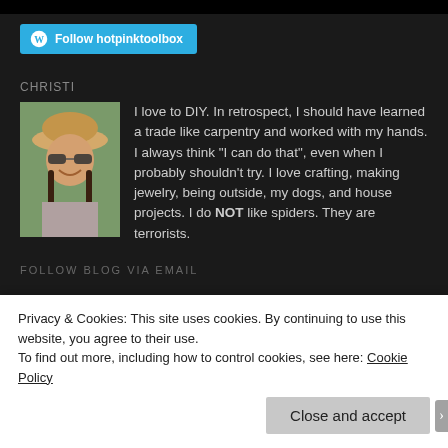[Figure (other): WordPress Follow button — cyan rounded rectangle with WordPress logo and text 'Follow hotpinktoolbox']
CHRISTI
[Figure (photo): Profile photo of a smiling woman wearing a straw hat and sunglasses, outdoors]
I love to DIY. In retrospect, I should have learned a trade like carpentry and worked with my hands. I always think "I can do that", even when I probably shouldn't try. I love crafting, making jewelry, being outside, my dogs, and house projects. I do NOT like spiders. They are terrorists.
FOLLOW BLOG VIA EMAIL
Privacy & Cookies: This site uses cookies. By continuing to use this website, you agree to their use.
To find out more, including how to control cookies, see here: Cookie Policy